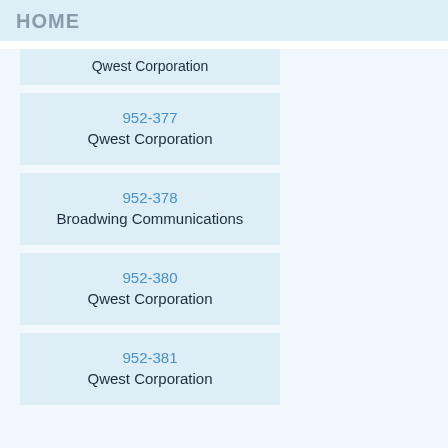HOME
Qwest Corporation
952-377
Qwest Corporation
952-378
Broadwing Communications
952-380
Qwest Corporation
952-381
Qwest Corporation